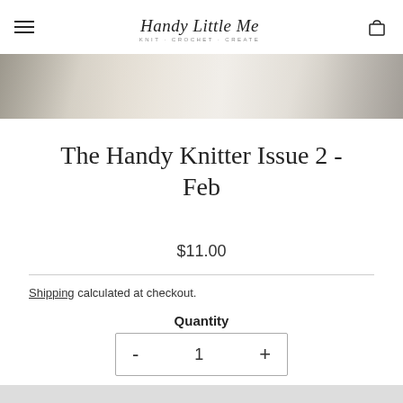Handy Little Me - Knit · Crochet · Create
[Figure (photo): Hero banner image showing a knitted or fabric texture in muted beige and grey tones]
The Handy Knitter Issue 2 - Feb
$11.00
Shipping calculated at checkout.
Quantity
- 1 +